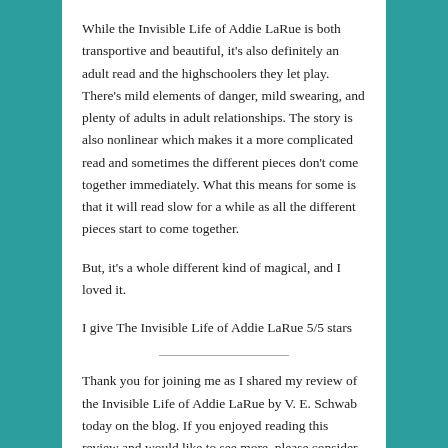While the Invisible Life of Addie LaRue is both transportive and beautiful, it's also definitely an adult read and the highschoolers they let play. There's mild elements of danger, mild swearing, and plenty of adults in adult relationships. The story is also nonlinear which makes it a more complicated read and sometimes the different pieces don't come together immediately. What this means for some is that it will read slow for a while as all the different pieces start to come together.
But, it's a whole different kind of magical, and I loved it.
I give The Invisible Life of Addie LaRue 5/5 stars
Thank you for joining me as I shared my review of the Invisible Life of Addie LaRue by V. E. Schwab today on the blog. If you enjoyed reading this review and would like to see more, please consider connecting with me by either following the blog here on WordPress, liking my Facebook page, joining my Facebook group, or subscribing to my newsletter. As an added bonus, newsletter subscribers receive free books, stories, and special offers every